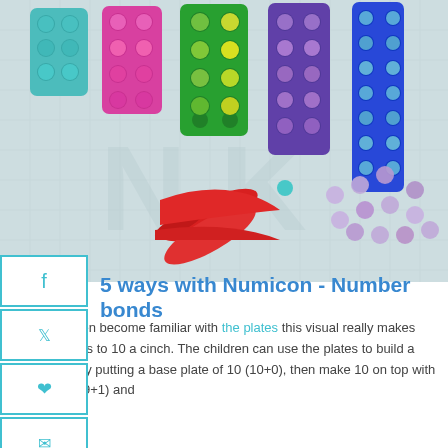[Figure (photo): Photo of colorful Numicon plates (teal, pink, green, purple, blue) with pom poms filling the holes, a red clip/scissors, and scattered purple pom poms on a grid background]
5 ways with Numicon - Number bonds
As the children become familiar with the plates this visual really makes number bonds to 10 a cinch. The children can use the plates to build a tower of 10 by putting a base plate of 10 (10+0), then make 10 on top with a 9 and a 1 (9+1) and